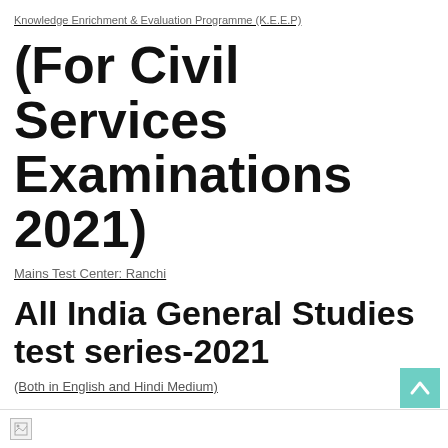Knowledge Enrichment & Evaluation Programme (K.E.E.P)
(For Civil Services Examinations 2021)
Mains Test Center: Ranchi
All India General Studies test series-2021
(Both in English and Hindi Medium)
[Figure (other): Scroll-to-top button with upward chevron arrow on teal/green background]